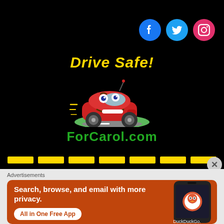[Figure (illustration): Black background section with social media icons (Facebook, Twitter, Instagram) in top right, and a Drive Safe! ForCarol.com logo with cartoon red car in center]
Advertisements
[Figure (screenshot): DuckDuckGo advertisement banner: 'Search, browse, and email with more privacy. All in One Free App' with phone mockup showing DuckDuckGo app]